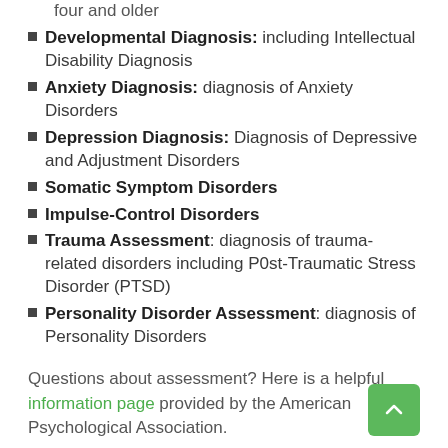four and older
Developmental Diagnosis: including Intellectual Disability Diagnosis
Anxiety Diagnosis: diagnosis of Anxiety Disorders
Depression Diagnosis: Diagnosis of Depressive and Adjustment Disorders
Somatic Symptom Disorders
Impulse-Control Disorders
Trauma Assessment: diagnosis of trauma-related disorders including P0st-Traumatic Stress Disorder (PTSD)
Personality Disorder Assessment: diagnosis of Personality Disorders
Questions about assessment?  Here is a helpful information page provided by the American Psychological Association.
Port Moody and Vancouver Psycho-Educational Assessment Clinics: